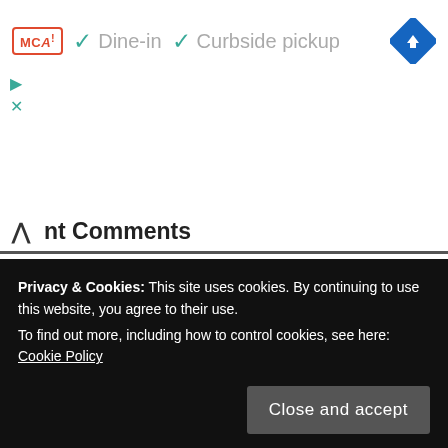[Figure (screenshot): Ad banner showing MCD logo with Dine-in and Curbside pickup options, navigation icon, play and close buttons]
Recent Comments
Tom M on Packers Become the First Team to Use a Seeker During Practice
It's sounds like this “seeker” machine will be the death nail to…
PF4L on The Good and the Bad in GB's 17-10 Preseason Loss to KC
"This pre-season is going to be HUGE for Jordan Love" - Killer To…
Privacy & Cookies: This site uses cookies. By continuing to use this website, you agree to their use.
To find out more, including how to control cookies, see here: Cookie Policy
Close and accept